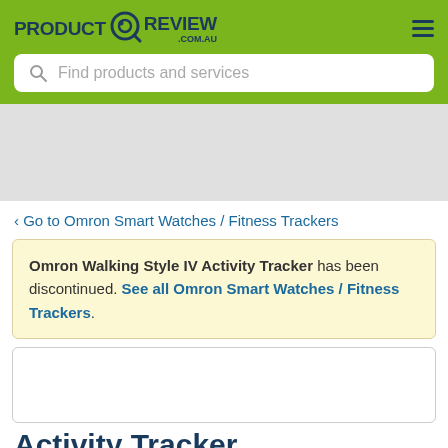PRODUCT REVIEW .COM.AU
Find products and services
[Figure (other): Advertisement banner placeholder area]
‹ Go to Omron Smart Watches / Fitness Trackers
Omron Walking Style IV Activity Tracker has been discontinued. See all Omron Smart Watches / Fitness Trackers.
Activity Tracker